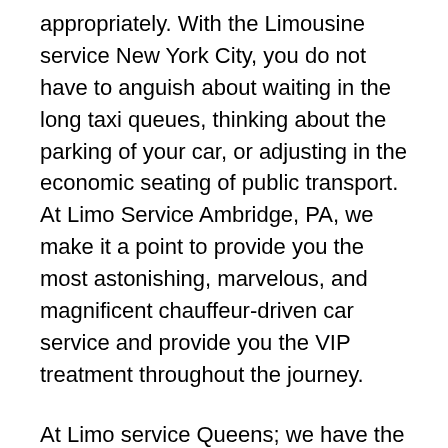appropriately. With the Limousine service New York City, you do not have to anguish about waiting in the long taxi queues, thinking about the parking of your car, or adjusting in the economic seating of public transport. At Limo Service Ambridge, PA, we make it a point to provide you the most astonishing, marvelous, and magnificent chauffeur-driven car service and provide you the VIP treatment throughout the journey.
At Limo service Queens; we have the line luxury vehicles at the most affordable and competitive price range. We at Limo Service Manhattan keep customers as our utmost priority. At Limo service Bronx, our talented and skilled ground staffs focus